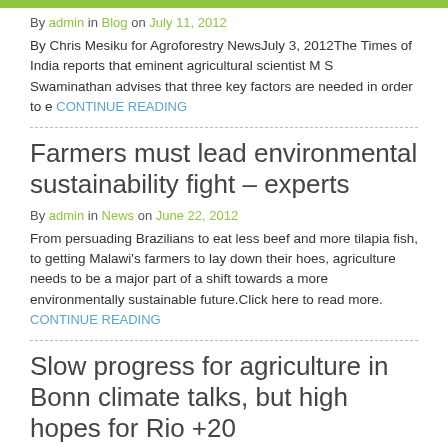By admin in Blog on July 11, 2012
By Chris Mesiku for Agroforestry NewsJuly 3, 2012The Times of India reports that eminent agricultural scientist M S Swaminathan advises that three key factors are needed in order to e CONTINUE READING
Farmers must lead environmental sustainability fight – experts
By admin in News on June 22, 2012
From persuading Brazilians to eat less beef and more tilapia fish, to getting Malawi's farmers to lay down their hoes, agriculture needs to be a major part of a shift towards a more environmentally sustainable future.Click here to read more. CONTINUE READING
Slow progress for agriculture in Bonn climate talks, but high hopes for Rio +20
By admin in News on June 13, 2012
The United Nations climate negotiations in Bonn have...